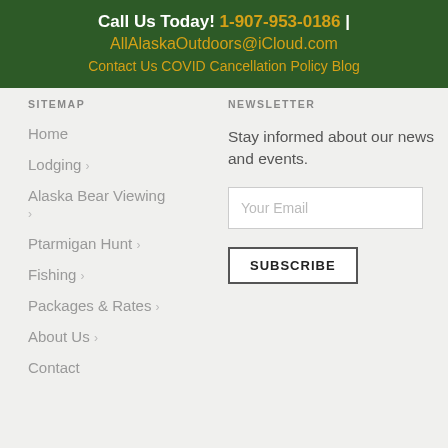Call Us Today! 1-907-953-0186 | AllAlaskaOutdoors@iCloud.com Contact Us  COVID Cancellation Policy  Blog
SITEMAP
NEWSLETTER
Home
Lodging
Alaska Bear Viewing
Ptarmigan Hunt
Fishing
Packages & Rates
About Us
Contact
Stay informed about our news and events.